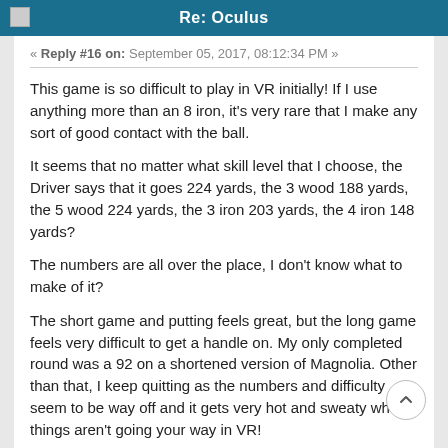Re: Oculus
« Reply #16 on: September 05, 2017, 08:12:34 PM »
This game is so difficult to play in VR initially! If I use anything more than an 8 iron, it's very rare that I make any sort of good contact with the ball.
It seems that no matter what skill level that I choose, the Driver says that it goes 224 yards, the 3 wood 188 yards, the 5 wood 224 yards, the 3 iron 203 yards, the 4 iron 148 yards?
The numbers are all over the place, I don't know what to make of it?
The short game and putting feels great, but the long game feels very difficult to get a handle on. My only completed round was a 92 on a shortened version of Magnolia. Other than that, I keep quitting as the numbers and difficulty seem to be way off and it gets very hot and sweaty when things aren't going your way in VR!